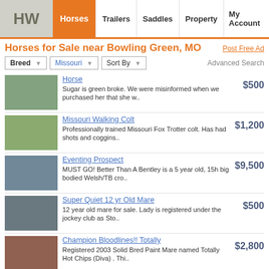HW | Horses | Trailers | Saddles | Property | My Account
Horses for Sale near Bowling Green, MO
Post Free Ad
Breed ▼  Missouri ▼  Sort By ▼  Advanced Search
Horse — Sugar is green broke. We were misinformed when we purchased her that she w.. — $500
Missouri Walking Colt — Professionally trained Missouri Fox Trotter colt. Has had shots and coggins.. — $1,200
Eventing Prospect — MUST GO! Better Than A Bentley is a 5 year old, 15h big bodied Welsh/TB cro.. — $9,500
Super Quiet 12 yr Old Mare — 12 year old mare for sale. Lady is registered under the jockey club as Sto.. — $500
Champion Bloodlines!! Totally — Registered 2003 Solid Bred Paint Mare named Totally Hot Chips (Diva) . Thi.. — $2,800
ISO Trail Gelding — Looking for a very broke gelding for a beginner 9 year old girl between 6-1.. — $3,500
Missouri Walking Colt — simply beautiful yearling just finihed professional training, wormed, coggi... — $1,200